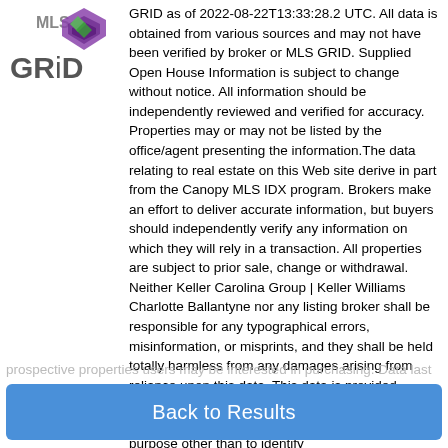[Figure (logo): MLS GRID logo with text 'MLS' above and 'GRiD' below, with a diamond/gem icon]
GRID as of 2022-08-22T13:33:28.2 UTC. All data is obtained from various sources and may not have been verified by broker or MLS GRID. Supplied Open House Information is subject to change without notice. All information should be independently reviewed and verified for accuracy. Properties may or may not be listed by the office/agent presenting the information.The data relating to real estate on this Web site derive in part from the Canopy MLS IDX program. Brokers make an effort to deliver accurate information, but buyers should independently verify any information on which they will rely in a transaction. All properties are subject to prior sale, change or withdrawal. Neither Keller Carolina Group | Keller Williams Charlotte Ballantyne nor any listing broker shall be responsible for any typographical errors, misinformation, or misprints, and they shall be held totally harmless from any damages arising from reliance upon this data. This data is provided exclusively for consumers' personal, non-commercial use and may not be used for any purpose other than to identify prospective properties users may be interested in purchasing. Data last updated
Back to Results